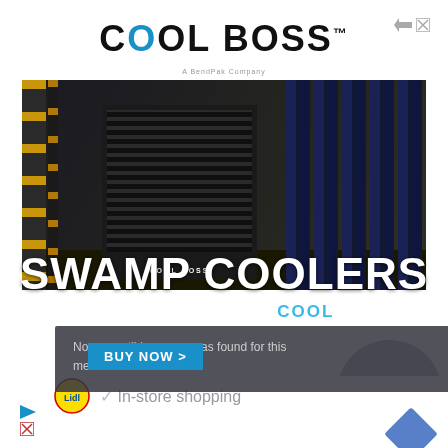[Figure (screenshot): Cool Boss advertisement banner with warehouse photo, Swamp Coolers text, and video error overlay showing 'No compatible source was found for this media.' with a BUY NOW button. Below the ad, background page content shows partial text about Rhonda Wills Net Worth, Biography, Career. At the bottom a Lidl store listing with In-store shopping checkmark is partially visible.]